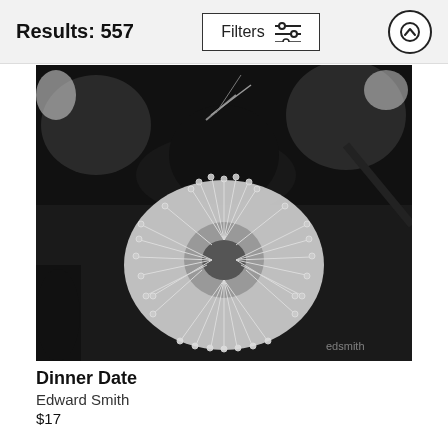Results: 557
[Figure (photo): Black and white close-up photograph of a spiky flower (likely a Banksia or sea urchin-like bloom) with numerous elongated stamens radiating outward, with a bird or small animal visible in the dark background. Watermark 'edsmith' in bottom right corner.]
Dinner Date
Edward Smith
$17